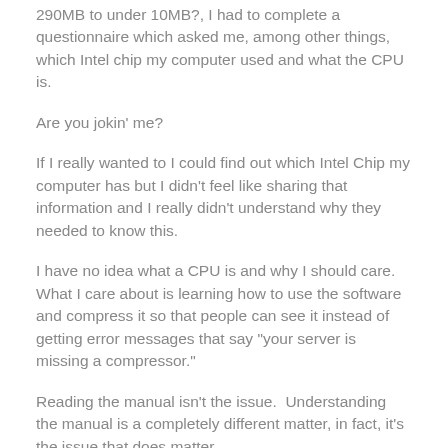290MB to under 10MB?, I had to complete a questionnaire which asked me, among other things, which Intel chip my computer used and what the CPU is.
Are you jokin' me?
If I really wanted to I could find out which Intel Chip my computer has but I didn't feel like sharing that information and I really didn't understand why they needed to know this.
I have no idea what a CPU is and why I should care. What I care about is learning how to use the software and compress it so that people can see it instead of getting error messages that say "your server is missing a compressor."
Reading the manual isn't the issue.  Understanding the manual is a completely different matter, in fact, it's the issue that does matter.